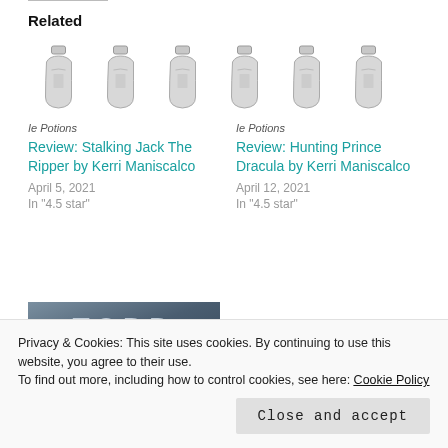Related
[Figure (illustration): Six bottle/potion icons arranged in a row]
Ie Potions
Review: Stalking Jack The Ripper by Kerri Maniscalco
April 5, 2021
In "4.5 star"
Ie Potions
Review: Hunting Prince Dracula by Kerri Maniscalco
April 12, 2021
In "4.5 star"
[Figure (photo): Dark cloudy sky image with text TODD partially visible]
Privacy & Cookies: This site uses cookies. By continuing to use this website, you agree to their use.
To find out more, including how to control cookies, see here: Cookie Policy